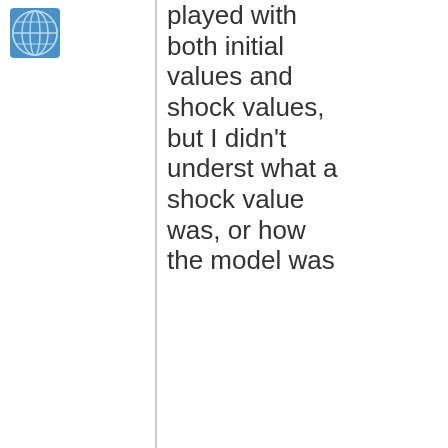[Figure (logo): Blue globe/network logo icon in top left corner]
played with both initial values and shock values, but I didn't understand what a shock value was, or how the model was